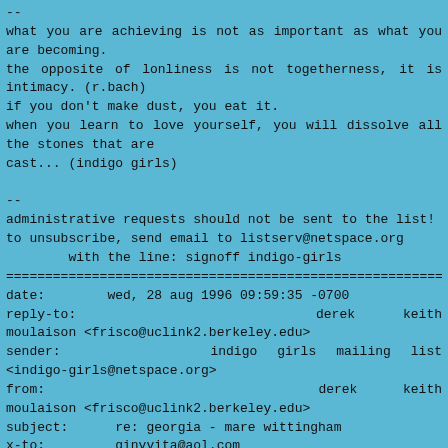--
what you are achieving is not as important as what you are becoming.
the opposite of lonliness is not togetherness, it is intimacy. (r.bach)
if you don't make dust, you eat it.
when you learn to love yourself, you will dissolve all the stones that are
cast... (indigo girls)
--
administrative requests should not be sent to the list!
to unsubscribe, send email to listserv@netspace.org
        with the line: signoff indigo-girls
========================================================
date:        wed, 28 aug 1996 09:59:35 -0700
reply-to:                    derek    keith    moulaison <frisco@uclink2.berkeley.edu>
sender:               indigo  girls  mailing  list  <indigo-girls@netspace.org>
from:                        derek    keith    moulaison <frisco@uclink2.berkeley.edu>
subject:      re: georgia - mare wittingham
x-to:         ginyvita@aol.com
in-reply-to: <96082622011 2.394734426@emout17.mail.aol.com>